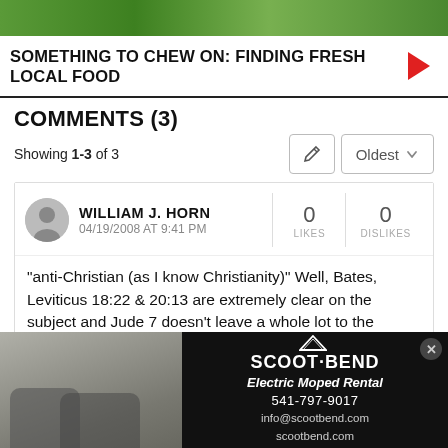[Figure (photo): Top portion of an image showing people in green clothing/background]
SOMETHING TO CHEW ON: FINDING FRESH LOCAL FOOD
COMMENTS (3)
Showing 1-3 of 3
WILLIAM J. HORN
04/19/2008 AT 9:41 PM
0 LIKES  0 DISLIKES
"anti-Christian (as I know Christianity)" Well, Bates, Leviticus 18:22 & 20:13 are extremely clear on the subject and Jude 7 doesn't leave a whole lot to the imagination. "Be put to death" for the
[Figure (photo): Advertisement for Scoot Bend Electric Moped Rental showing two mopeds with a person. Text: SCOOT·BEND, Electric Moped Rental, 541-797-9017, info@scootbend.com, scootbend.com]